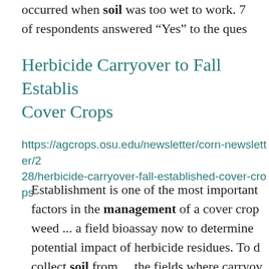occurred when soil was too wet to work. 7 of respondents answered “Yes” to the ques
Herbicide Carryover to Fall Establish Cover Crops
https://agcrops.osu.edu/newsletter/corn-newsletter/2 28/herbicide-carryover-fall-established-cover-crops
Establishment is one of the most important factors in the management of a cover crop weed ... a field bioassay now to determine potential impact of herbicide residues. To d collect soil from ... the fields where carryov concern, and soil from a field with no herbi